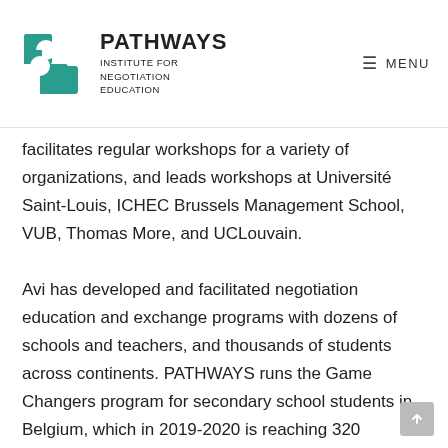PATHWAYS INSTITUTE FOR NEGOTIATION EDUCATION | MENU
facilitates regular workshops for a variety of organizations, and leads workshops at Université Saint-Louis, ICHEC Brussels Management School, VUB, Thomas More, and UCLouvain.
Avi has developed and facilitated negotiation education and exchange programs with dozens of schools and teachers, and thousands of students across continents. PATHWAYS runs the Game Changers program for secondary school students in Belgium, which in 2019-2020 is reaching 320 students from 16 paired Francophone and Dutch-speaking